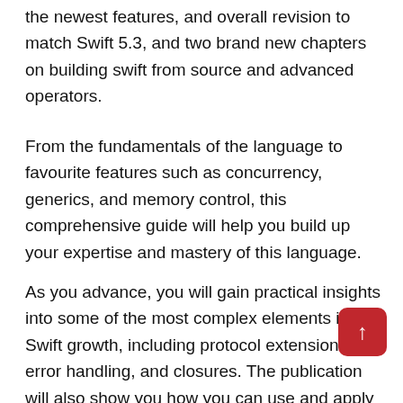the newest features, and overall revision to match Swift 5.3, and two brand new chapters on building swift from source and advanced operators.
From the fundamentals of the language to favourite features such as concurrency, generics, and memory control, this comprehensive guide will help you build up your expertise and mastery of this language.
As you advance, you will gain practical insights into some of the most complex elements in Swift growth, including protocol extensions, error handling, and closures. The publication will also show you how you can use and apply them to your own endeavours. In later chapters, you will know how to use the ab of protocol-oriented programming to write elasti and easier-to-manage code in Swift. In the end, you